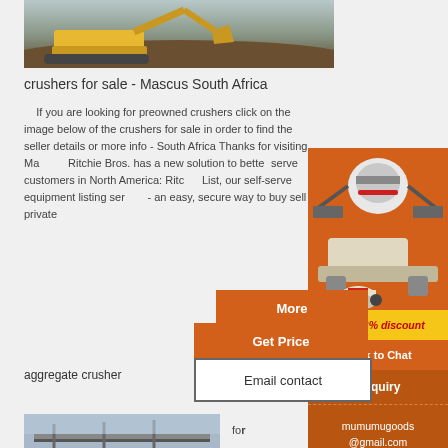[Figure (photo): Excavator/construction equipment working with dirt and rocks, top portion of image]
crushers for sale - Mascus South Africa
If you are looking for preowned crushers click on the image below of the crushers for sale in order to find the seller details or more info - South Africa Thanks for visiting Mascus. Ritchie Bros. has a new solution to better serve customers in North America: Ritchie List, our self-serve equipment listing service - an easy, secure way to buy sell private
[Figure (photo): Advertisement banner showing crusher machines on orange background with discount offer and chat/enquiry options]
More
Get Price
aggregate crusher
Email contact
for
[Figure (photo): Industrial conveyor belt or aggregate processing equipment]